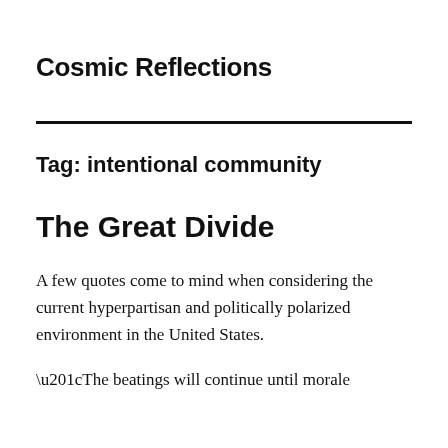Cosmic Reflections
Tag: intentional community
The Great Divide
A few quotes come to mind when considering the current hyperpartisan and politically polarized environment in the United States.
“The beatings will continue until morale